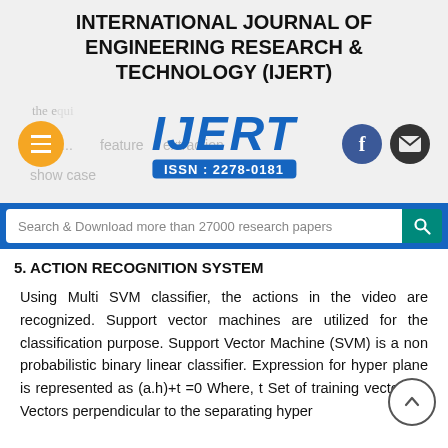INTERNATIONAL JOURNAL OF ENGINEERING RESEARCH & TECHNOLOGY (IJERT)
[Figure (logo): IJERT logo with ISSN: 2278-0181, overlaid with ghost text 'the e...', 'Fig 4... feature extraction', 'show case'. Orange hamburger menu button on left, Facebook and email icon buttons on right.]
Search & Download more than 27000 research papers
5. ACTION RECOGNITION SYSTEM
Using Multi SVM classifier, the actions in the video are recognized. Support vector machines are utilized for the classification purpose. Support Vector Machine (SVM) is a non probabilistic binary linear classifier. Expression for hyper plane is represented as (a.h)+t =0 Where, t Set of training vectors, a Vectors perpendicular to the separating hyper